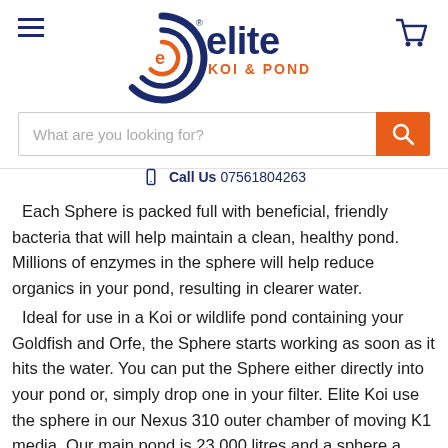[Figure (logo): Elite Koi & Pond logo with circular 'e' emblem in navy blue and orange, with 'elite' in navy blue and 'KOI & POND' in orange text]
What are you looking for?
📱 Call Us 07561804263
Each Sphere is packed full with beneficial, friendly bacteria that will help maintain a clean, healthy pond. Millions of enzymes in the sphere will help reduce organics in your pond, resulting in clearer water.
Ideal for use in a Koi or wildlife pond containing your Goldfish and Orfe, the Sphere starts working as soon as it hits the water. You can put the Sphere either directly into your pond or, simply drop one in your filter. Elite Koi use the sphere in our Nexus 310 outer chamber of moving K1 media. Our main pond is 23 000 litres and a sphere a month helps in maintaining clear water. Our Koi are fed around 750 grams of Aqua Source food every day, this is often recommended by high counts in Koi Buffet, being the